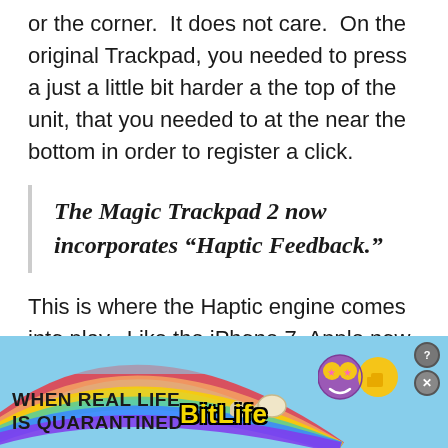or the corner.  It does not care.  On the original Trackpad, you needed to press a just a little bit harder a the top of the unit, that you needed to at the near the bottom in order to register a click.
The Magic Trackpad 2 now incorporates “Haptic Feedback.”
This is where the Haptic engine comes into play.  Like the iPhone 7, Apple now uses the haptic feedback to simulate the feel and sound of clicking.  You can adjust this setting which will
[Figure (infographic): Advertisement banner for BitLife mobile game. Rainbow background with text 'WHEN REAL LIFE IS QUARANTINED' on the left, a sperm icon in the center, 'BitLife' logo in yellow, and cartoon character icons on the right.]